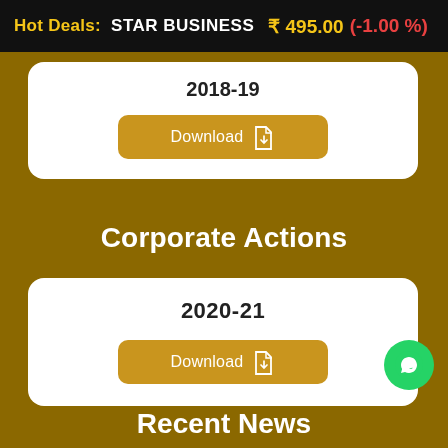Hot Deals:  STAR BUSINESS  ₹ 495.00 (-1.00 %)
2018-19
Download
Corporate Actions
2020-21
Download
Recent News